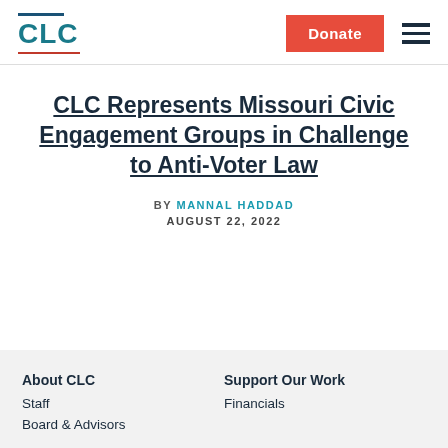CLC | Donate
CLC Represents Missouri Civic Engagement Groups in Challenge to Anti-Voter Law
BY MANNAL HADDAD
AUGUST 22, 2022
About CLC | Staff | Board & Advisors | Support Our Work | Financials